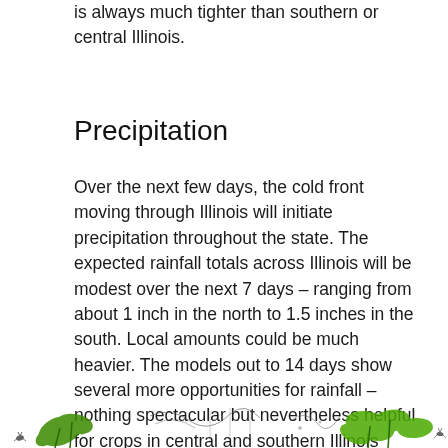concentrated in northern Illinois where the growing season is always much tighter than southern or central Illinois.
Precipitation
Over the next few days, the cold front moving through Illinois will initiate precipitation throughout the state. The expected rainfall totals across Illinois will be modest over the next 7 days – ranging from about 1 inch in the north to 1.5 inches in the south. Local amounts could be much heavier. The models out to 14 days show several more opportunities for rainfall – nothing spectacular but nevertheless helpful for crops in central and southern Illinois without washing away northern Illinois. At the same time, the cooler temperatures will lower the demands on soil moisture for a while.
[Figure (illustration): Decorative strip at bottom of page showing green plant/crop illustrations and weather map elements]